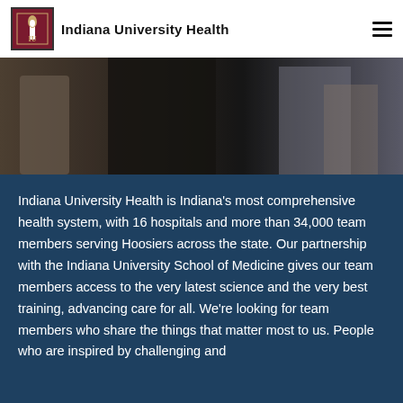Indiana University Health
[Figure (photo): Partial photo of people in a healthcare/professional setting, muted tones, cropped at top of frame]
Indiana University Health is Indiana's most comprehensive health system, with 16 hospitals and more than 34,000 team members serving Hoosiers across the state. Our partnership with the Indiana University School of Medicine gives our team members access to the very latest science and the very best training, advancing care for all. We're looking for team members who share the things that matter most to us. People who are inspired by challenging and